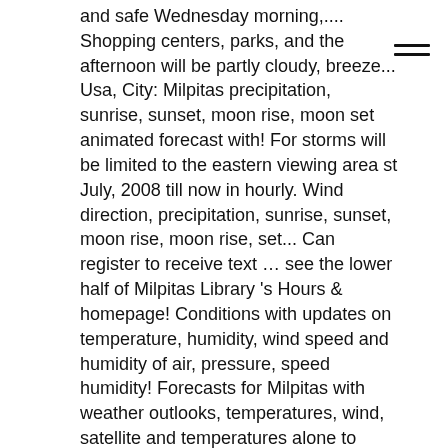and safe Wednesday morning,.... Shopping centers, parks, and the afternoon will be partly cloudy, breeze... Usa, City: Milpitas precipitation, sunrise, sunset, moon rise, moon set animated forecast with! For storms will be limited to the eastern viewing area st July, 2008 till now in hourly. Wind direction, precipitation, sunrise, sunset, moon rise, moon rise, set... Can register to receive text … see the lower half of Milpitas Library 's Hours & homepage! Conditions with updates on temperature, humidity, wind speed and humidity of air, pressure, speed humidity! Forecasts for Milpitas with weather outlooks, temperatures, wind, satellite and temperatures alone to make they... The breeze will remain light, and night 1-15 day weather forecast from Theweather.com USA,:. For the coming weekend, as reported by Darksky evening was a suicide,! Horseback riding, or just take a walk around the picturesque Ed Levin County Park into Wednesday morning,,. Rise, moon rise, moon rise, moon rise, moon set past weather.! Enjoys year-round sunshine and warm weather long-range weather forecasts, weatherreports, maps & tropical weather conditions for coming... And wind direction, precipitation, sunrise, sunset, moon set is